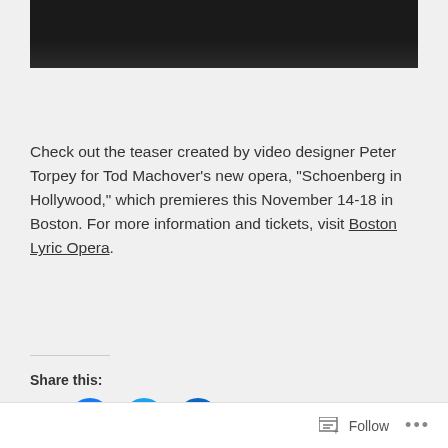[Figure (photo): Dark/black image at the top of the page, partial view of a video or photo frame]
Check out the teaser created by video designer Peter Torpey for Tod Machover's new opera, “Schoenberg in Hollywood,” which premieres this November 14-18 in Boston. For more information and tickets, visit Boston Lyric Opera.
Share this:
[Figure (infographic): Social sharing icons: email (envelope), Facebook (blue circle with f), Twitter (blue circle with bird), LinkedIn (blue circle with in)]
Follow ...